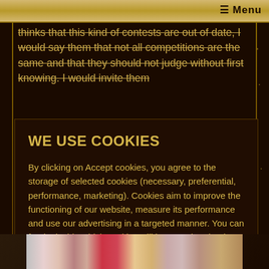☰ Menu
thinks that this kind of contests are out of date, I would say them that not all competitions are the same and that they should not judge without first knowing. I would invite them
WE USE COOKIES
By clicking on Accept cookies, you agree to the storage of selected cookies (necessary, preferential, performance, marketing). Cookies aim to improve the functioning of our website, measure its performance and use our advertising in a targeted manner. You can freely decide which cookies will be stored under the Edit settings button.
Cookie statement.
Edit settings
Accept cookies
[Figure (photo): Partial view of women's faces at bottom of page]